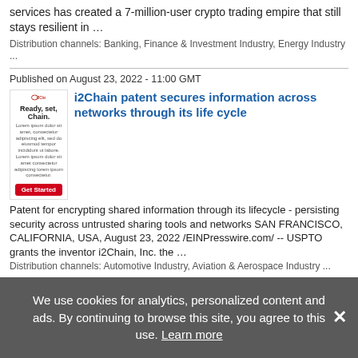services has created a 7-million-user crypto trading empire that still stays resilient in …
Distribution channels: Banking, Finance & Investment Industry, Energy Industry ...
Published on August 23, 2022 - 11:00 GMT
[Figure (logo): i2Chain advertisement with logo 'i2Chain', tagline 'Ready, set, Chain.' and a red Get Started button]
i2Chain patent secures information across networks through its life cycle
Patent for encrypting shared information through its lifecycle - persisting security across untrusted sharing tools and networks SAN FRANCISCO, CALIFORNIA, USA, August 23, 2022 /EINPresswire.com/ -- USPTO grants the inventor i2Chain, Inc. the …
Distribution channels: Automotive Industry, Aviation & Aerospace Industry ...
Published on August 23, 2022 - 10:30 GMT
[Figure (photo): Idaho state flag - blue background with state seal]
Idaho Mesothelioma Victims Center Urges a Navy Veteran with
We use cookies for analytics, personalized content and ads. By continuing to browse this site, you agree to this use. Learn more